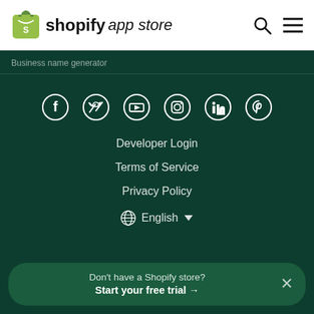Shopify App Store
Business name generator
[Figure (infographic): Social media icons row: Facebook, Twitter, YouTube, Instagram, LinkedIn, Pinterest — white icons on dark green background]
Developer Login
Terms of Service
Privacy Policy
English
Don't have a Shopify store? Start your free trial →